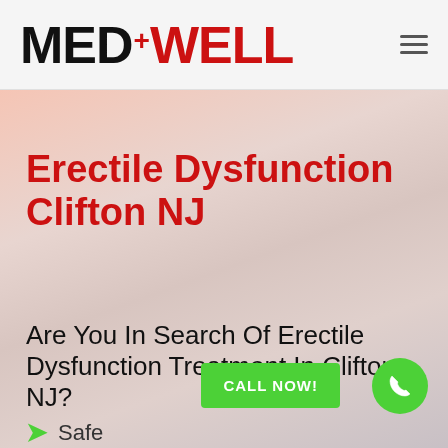[Figure (logo): MedWell logo with red plus sign and hamburger menu icon]
Erectile Dysfunction Clifton NJ
Are You In Search Of Erectile Dysfunction Treatment In Clifton NJ?
Safe